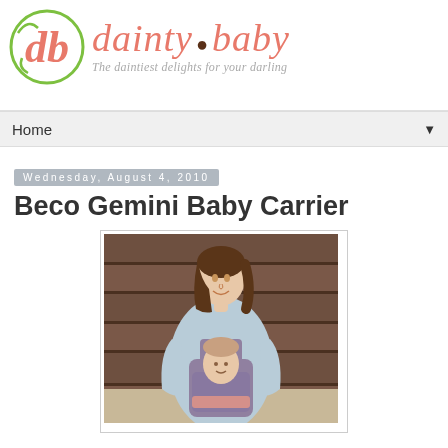dainty baby — The daintiest delights for your darling
Home
Wednesday, August 4, 2010
Beco Gemini Baby Carrier
[Figure (photo): A woman wearing a light blue shirt carrying a baby in a purple/mauve baby carrier, standing in front of a wooden plank background.]